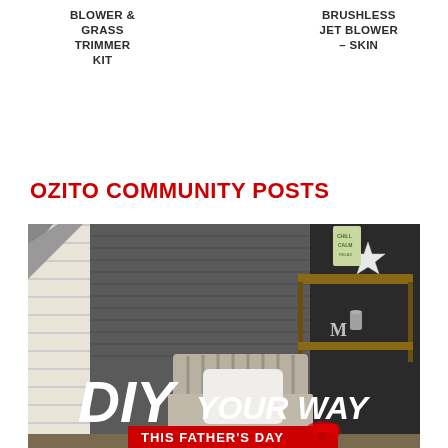BLOWER & GRASS TRIMMER KIT
BRUSHLESS JET BLOWER – SKIN
OZITO COMMUNITY POSTS
[Figure (photo): Promotional image for Ozito featuring an outdoor patio/shed scene with a star decoration, shelving unit, and wicker chair. Text overlay reads 'DIY YOUR WAY THIS FATHER'S DAY' with a red banner and power drill image.]